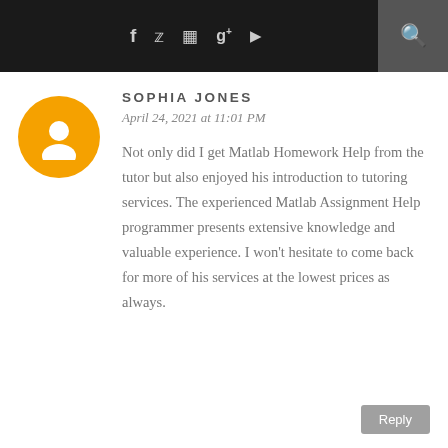f  ✓  ☷  g+  ▶  🔍
[Figure (illustration): Orange circular Blogger avatar icon with white person silhouette]
SOPHIA JONES
April 24, 2021 at 11:01 PM
Not only did I get Matlab Homework Help from the tutor but also enjoyed his introduction to tutoring services. The experienced Matlab Assignment Help programmer presents extensive knowledge and valuable experience. I won't hesitate to come back for more of his services at the lowest prices as always.